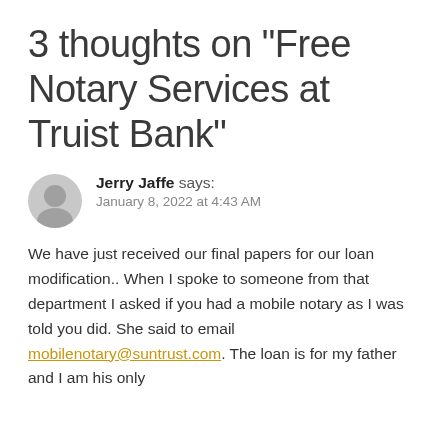3 thoughts on “Free Notary Services at Truist Bank”
Jerry Jaffe says:
January 8, 2022 at 4:43 AM
We have just received our final papers for our loan modification.. When I spoke to someone from that department I asked if you had a mobile notary as I was told you did. She said to email mobilenotary@suntrust.com. The loan is for my father and I am his only